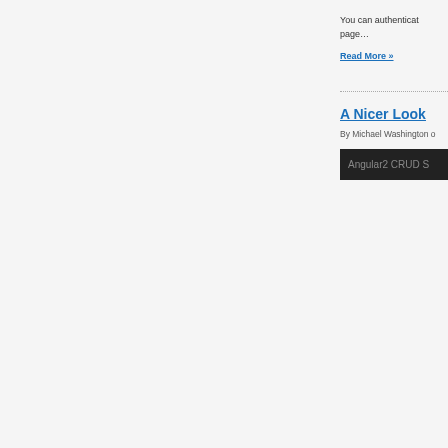You can authenticate page…
Read More »
A Nicer Look
By Michael Washington o
[Figure (screenshot): Dark bar with text 'Angular2 CRUD S']